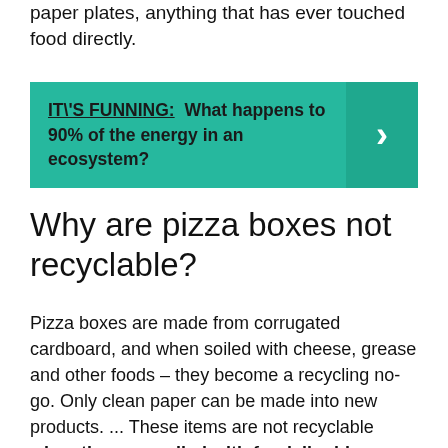paper plates, anything that has ever touched food directly.
[Figure (infographic): Teal banner with text: IT\'S FUNNING: What happens to 90% of the energy in an ecosystem? with a right-arrow chevron on the right side.]
Why are pizza boxes not recyclable?
Pizza boxes are made from corrugated cardboard, and when soiled with cheese, grease and other foods – they become a recycling no-go. Only clean paper can be made into new products. ... These items are not recyclable when they are soiled with food, liquid or other contaminants.